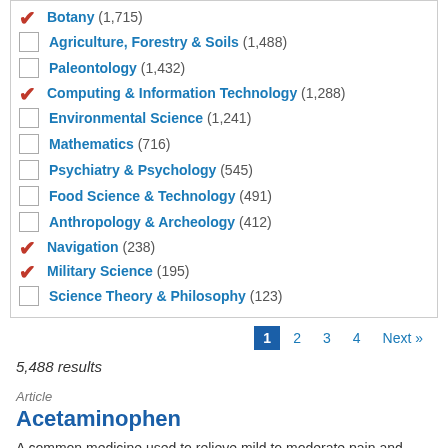Botany (1,715) [checked]
Agriculture, Forestry & Soils (1,488)
Paleontology (1,432)
Computing & Information Technology (1,288) [checked]
Environmental Science (1,241)
Mathematics (716)
Psychiatry & Psychology (545)
Food Science & Technology (491)
Anthropology & Archeology (412)
Navigation (238) [checked]
Military Science (195) [checked]
Science Theory & Philosophy (123)
1 2 3 4 Next »
5,488 results
Article
Acetaminophen
A common medicine used to relieve mild to moderate pain and reduce fever. Acetaminophen (N-acetyl-p-aminophenol), or